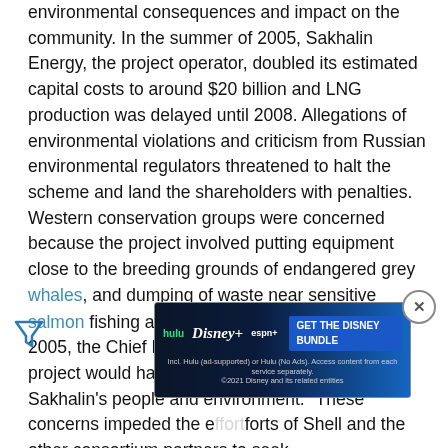environmental consequences and impact on the community. In the summer of 2005, Sakhalin Energy, the project operator, doubled its estimated capital costs to around $20 billion and LNG production was delayed until 2008. Allegations of environmental violations and criticism from Russian environmental regulators threatened to halt the scheme and land the shareholders with penalties. Western conservation groups were concerned because the project involved putting equipment close to the breeding grounds of endangered grey whales, and dumping of waste near sensitive salmon fishing areas.[25]At the end of November, 2005, the Chief Executive of WWF said that the project would have a "negative impact on Sakhalin's people and environment." These concerns impeded the efforts of Shell and the other consortium partners to seek financing for the project from the European Bank for Reconstruction... The originally negotiated contract was a "production...
[Figure (other): Advertisement banner for Disney Bundle (Hulu, Disney+, ESPN+) with 'GET THE DISNEY BUNDLE' call to action and fine print about subscription terms.]